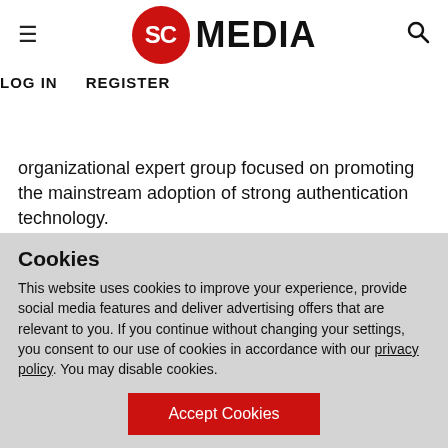SC MEDIA — LOG IN   REGISTER
organizational expert group focused on promoting the mainstream adoption of strong authentication technology.
The consortium for open federated identity and web services standards said its Strong Authentication Expert Group has been created to speed the worldwide deployment of interoperable strong authentication and to help
Cookies
This website uses cookies to improve your experience, provide social media features and deliver advertising offers that are relevant to you. If you continue without changing your settings, you consent to our use of cookies in accordance with our privacy policy. You may disable cookies.
Accept Cookies